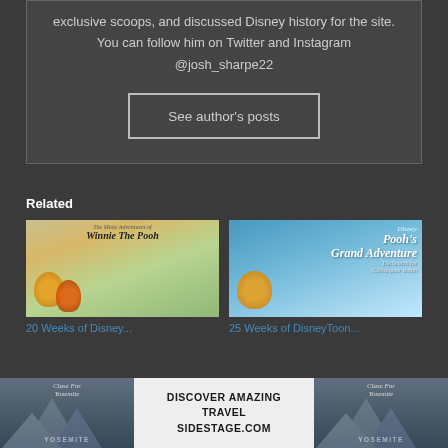exclusive scoops, and discussed Disney history for the site. You can follow him on Twitter and Instagram @josh_sharpe22
See author's posts
Related
[Figure (photo): Winnie the Pooh movie poster thumbnail showing Winnie the Pooh, Tigger, and Piglet]
20 Weeks of Disney...
[Figure (photo): Pooh's Grand Adventure DisneyToon movie poster thumbnail]
25 Weeks of DisneyToon...
[Figure (photo): Advertisement banner: DISCOVER AMAZING TRAVEL SIDESTAGE.COM with mountain/Yosemite imagery]